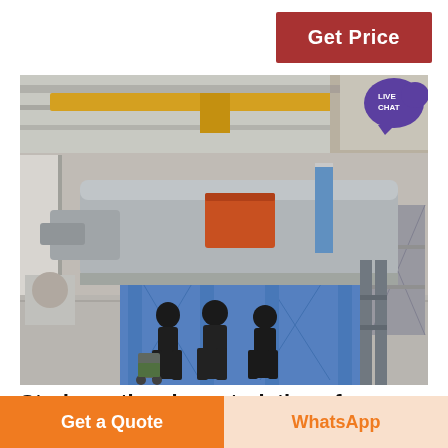Get Price
[Figure (photo): Industrial factory floor with workers in black jackets inspecting a large gray and blue industrial machine (vibrating screen or similar heavy equipment) mounted on blue steel supports. Overhead crane visible in the background of a large warehouse. A live chat bubble icon is overlaid in the top right corner of the photo.]
Study on the characteristics of nitrogen
Get a Quote
WhatsApp